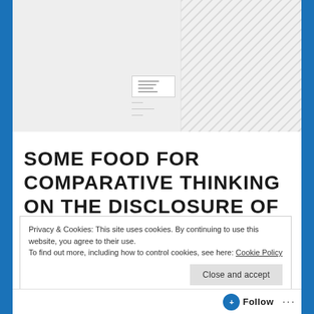[Figure (screenshot): Website header area with gray background, diagonal hatching pattern on the right side, and a small document icon thumbnail in the center-left area.]
SOME FOOD FOR COMPARATIVE THINKING ON THE DISCLOSURE OF REASONS FOR ADMINISTRATIVE ACTION: USING COMPARATIVE
Privacy & Cookies: This site uses cookies. By continuing to use this website, you agree to their use. To find out more, including how to control cookies, see here: Cookie Policy
Close and accept
Follow ···